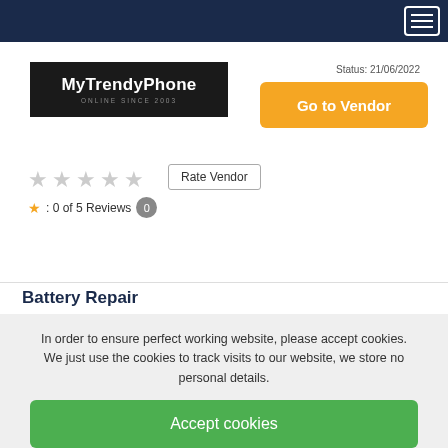[Figure (screenshot): MyTrendyPhone logo — white text on dark background, 'ONLINE SINCE 2003' subtitle]
Status: 21/06/2022
Go to Vendor
[Figure (other): Five empty star rating icons]
Rate Vendor
★: 0 of 5 Reviews 0
Battery Repair
The battery of your Google Pixel 3a XL does not hold charge or doesn't charge anymore at all? In this case you should
In order to ensure perfect working website, please accept cookies. We just use the cookies to track visits to our website, we store no personal details.
Accept cookies